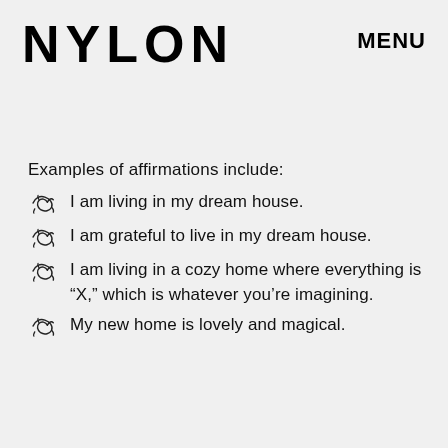NYLON   MENU
Examples of affirmations include:
I am living in my dream house.
I am grateful to live in my dream house.
I am living in a cozy home where everything is "X," which is whatever you're imagining.
My new home is lovely and magical.